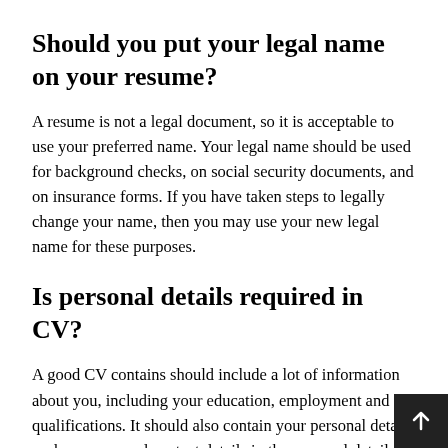Should you put your legal name on your resume?
A resume is not a legal document, so it is acceptable to use your preferred name. Your legal name should be used for background checks, on social security documents, and on insurance forms. If you have taken steps to legally change your name, then you may use your new legal name for these purposes.
Is personal details required in CV?
A good CV contains should include a lot of information about you, including your education, employment and qualifications. It should also contain your personal details such as name and contact details in the personal details section.
How do you write your age on a CV?